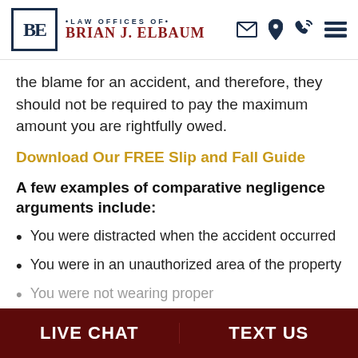LAW OFFICES OF BRIAN J. ELBAUM
the blame for an accident, and therefore, they should not be required to pay the maximum amount you are rightfully owed.
Download Our FREE Slip and Fall Guide
A few examples of comparative negligence arguments include:
You were distracted when the accident occurred
You were in an unauthorized area of the property
You were not wearing proper
LIVE CHAT   TEXT US